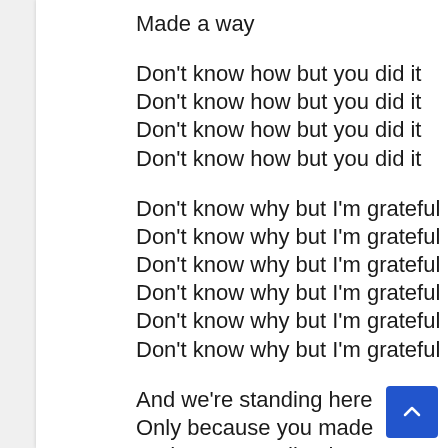Made a way
Don't know how but you did it
Don't know how but you did it
Don't know how but you did it
Don't know how but you did it
Don't know why but I'm grateful
Don't know why but I'm grateful
Don't know why but I'm grateful
Don't know why but I'm grateful
Don't know why but I'm grateful
Don't know why but I'm grateful
And we're standing here
Only because you made
And we're standing here